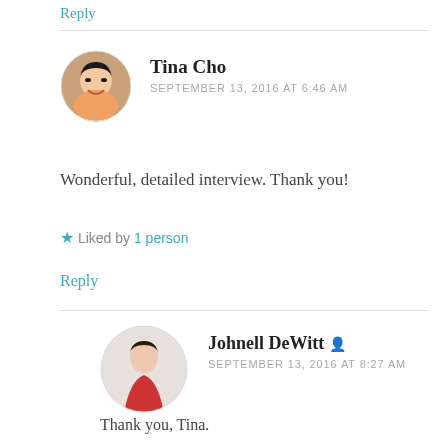Reply
Tina Cho
SEPTEMBER 13, 2016 AT 6:46 AM
Wonderful, detailed interview. Thank you!
Liked by 1 person
Reply
Johnell DeWitt
SEPTEMBER 13, 2016 AT 8:27 AM
Thank you, Tina.